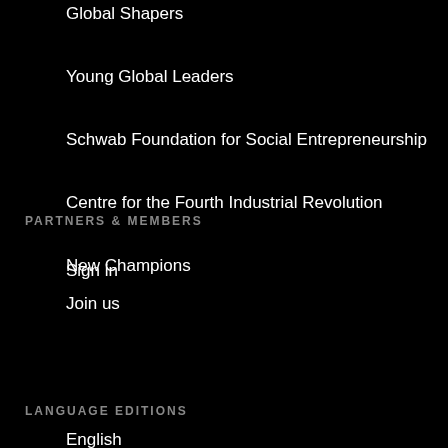Global Shapers
Young Global Leaders
Schwab Foundation for Social Entrepreneurship
Centre for the Fourth Industrial Revolution
New Champions
PARTNERS & MEMBERS
Sign in
Join us
LANGUAGE EDITIONS
English